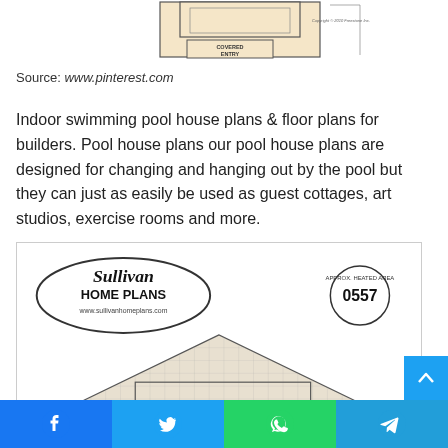[Figure (schematic): Floor plan diagram showing covered entry area with Freestone Inc. copyright notice 2010]
Source: www.pinterest.com
Indoor swimming pool house plans & floor plans for builders. Pool house plans our pool house plans are designed for changing and hanging out by the pool but they can just as easily be used as guest cottages, art studios, exercise rooms and more.
[Figure (engineering-diagram): Sullivan Home Plans architectural elevation diagram showing a triangular roof profile, logo with oval border and website www.sullivanhomeplans.com, and APPROX. HEATED AREA 0557 label in a circle]